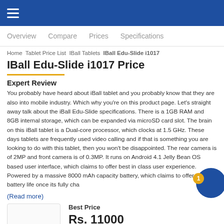Overview   Compare   Prices   Specifications
Home  Tablet Price List  IBall Tablets  IBall Edu-Slide i1017
IBall Edu-Slide i1017 Price
Expert Review
You probably have heard about iBall tablet and you probably know that they are also into mobile industry. Which why you're on this product page. Let's straight away talk about the iBall Edu-Slide specifications. There is a 1GB RAM and 8GB internal storage, which can be expanded via microSD card slot. The brain on this iBall tablet is a Dual-core processor, which clocks at 1.5 GHz. These days tablets are frequently used video calling and if that is something you are looking to do with this tablet, then you won't be disappointed. The rear camera is of 2MP and front camera is of 0.3MP. It runs on Android 4.1 Jelly Bean OS based user interface, which claims to offer best in class user experience. Powered by a massive 8000 mAh capacity battery, which claims to offer great battery life once its fully cha
(Read more)
Best Price
Rs. 11000
Rs. 11000